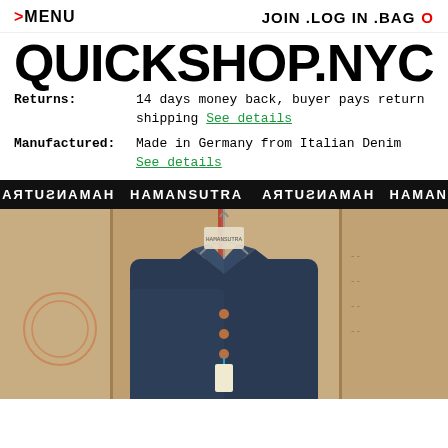> MENU    JOIN . LOG IN . BAG  0
QUICKSHOP.NYC
Returns:   14 days money back, buyer pays return shipping See details
Manufactured:   Made in Germany from Italian Denim
See details
[Figure (other): Repeating brand banner with HAMANSUTRA text alternating normal and mirrored]
[Figure (photo): Denim jacket hanging on a hanger in front of cardboard boxes, tag visible]